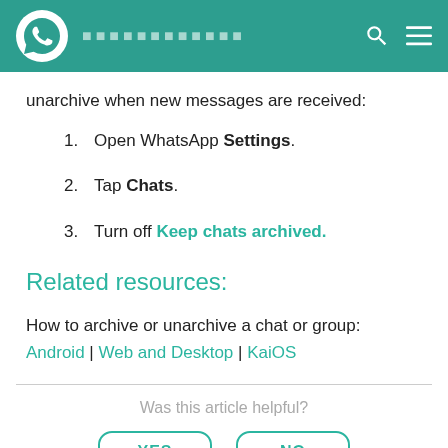WhatsApp header with logo and navigation
unarchive when new messages are received:
Open WhatsApp Settings.
Tap Chats.
Turn off Keep chats archived.
Related resources:
How to archive or unarchive a chat or group: Android | Web and Desktop | KaiOS
Was this article helpful?
YES    NO